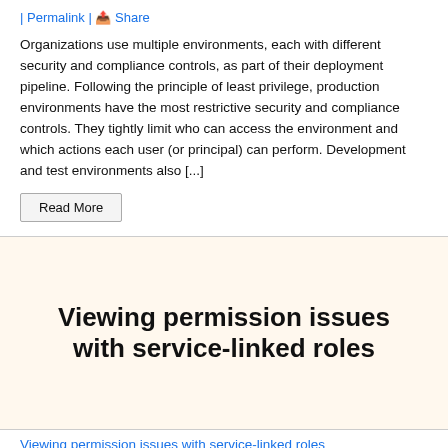| Permalink | Share
Organizations use multiple environments, each with different security and compliance controls, as part of their deployment pipeline. Following the principle of least privilege, production environments have the most restrictive security and compliance controls. They tightly limit who can access the environment and which actions each user (or principal) can perform. Development and test environments also [...]
Read More
[Figure (illustration): Decorative banner image with hexagonal 3D cube pattern in orange/gold outlines on light cream background, with bold black text overlay reading 'Viewing permission issues with service-linked roles']
Viewing permission issues with service-linked roles